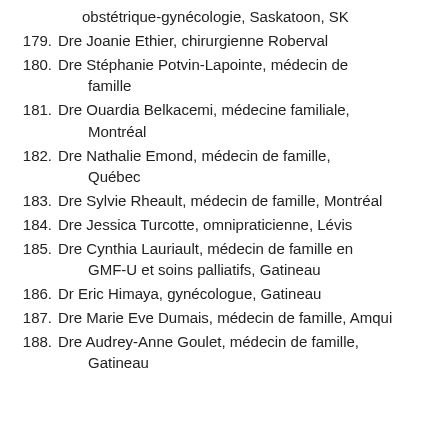obstétrique-gynécologie, Saskatoon, SK
179. Dre Joanie Ethier, chirurgienne Roberval
180. Dre Stéphanie Potvin-Lapointe, médecin de famille
181. Dre Ouardia Belkacemi, médecine familiale, Montréal
182. Dre Nathalie Emond, médecin de famille, Québec
183. Dre Sylvie Rheault, médecin de famille, Montréal
184. Dre Jessica Turcotte, omnipraticienne, Lévis
185. Dre Cynthia Lauriault, médecin de famille en GMF-U et soins palliatifs, Gatineau
186. Dr Eric Himaya, gynécologue, Gatineau
187. Dre Marie Eve Dumais, médecin de famille, Amqui
188. Dre Audrey-Anne Goulet, médecin de famille, Gatineau